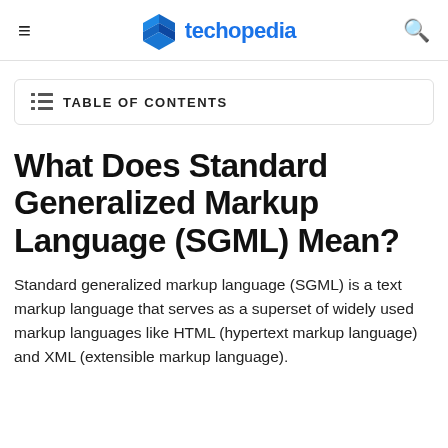techopedia
TABLE OF CONTENTS
What Does Standard Generalized Markup Language (SGML) Mean?
Standard generalized markup language (SGML) is a text markup language that serves as a superset of widely used markup languages like HTML (hypertext markup language) and XML (extensible markup language).